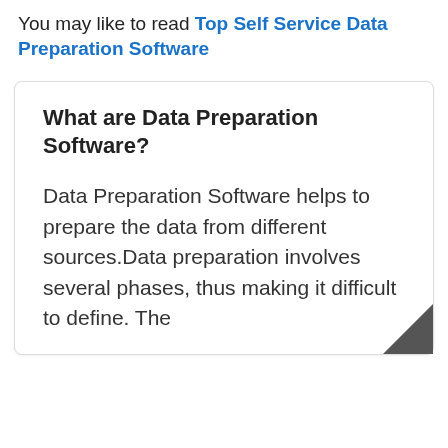You may like to read Top Self Service Data Preparation Software
What are Data Preparation Software?
Data Preparation Software helps to prepare the data from different sources.Data preparation involves several phases, thus making it difficult to define. The